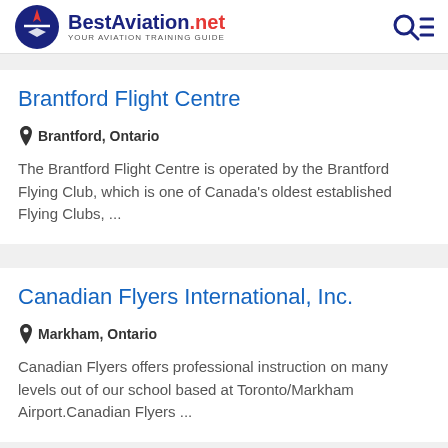BestAviation.net YOUR AVIATION TRAINING GUIDE
Brantford Flight Centre
Brantford, Ontario
The Brantford Flight Centre is operated by the Brantford Flying Club, which is one of Canada's oldest established Flying Clubs, ...
Canadian Flyers International, Inc.
Markham, Ontario
Canadian Flyers offers professional instruction on many levels out of our school based at Toronto/Markham Airport.Canadian Flyers ...